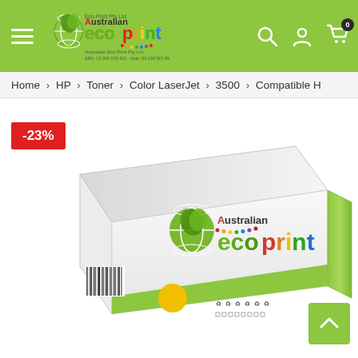[Figure (logo): Australian Ecoprint logo with green globe icon and colorful text on green header bar]
Home > HP > Toner > Color LaserJet > 3500 > Compatible H
-23%
[Figure (photo): White and green toner cartridge box with Australian Ecoprint branding and yellow color dot, showing barcode and recycling symbols]